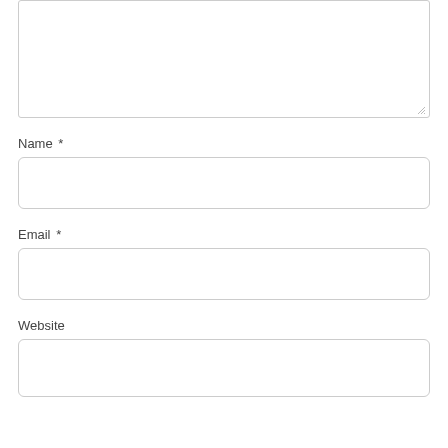[Figure (other): Textarea input field (partially visible at top, with resize handle)]
Name *
[Figure (other): Name text input field]
Email *
[Figure (other): Email text input field]
Website
[Figure (other): Website text input field]